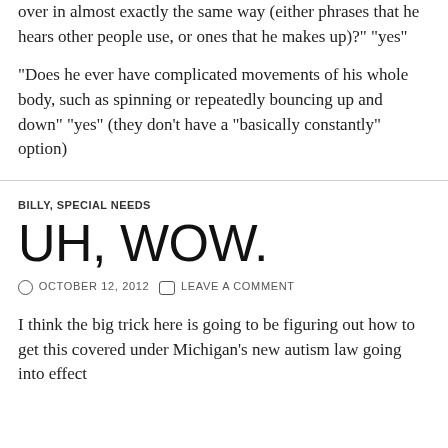does he ever use the phrases or say, the same thing over and over in almost exactly the same way (either phrases that he hears other people use, or ones that he makes up)?" "yes"
"Does he ever have complicated movements of his whole body, such as spinning or repeatedly bouncing up and down" "yes" (they don't have a "basically constantly" option)
BILLY, SPECIAL NEEDS
UH, WOW.
OCTOBER 12, 2012   LEAVE A COMMENT
I think the big trick here is going to be figuring out how to get this covered under Michigan's new autism law going into effect